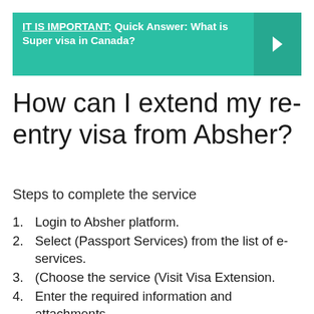IT IS IMPORTANT: Quick Answer: What is Super visa in Canada?
How can I extend my re-entry visa from Absher?
Steps to complete the service
Login to Absher platform.
Select (Passport Services) from the list of e-services.
(Choose the service (Visit Visa Extension.
Enter the required information and attachments.
Pay the fees.